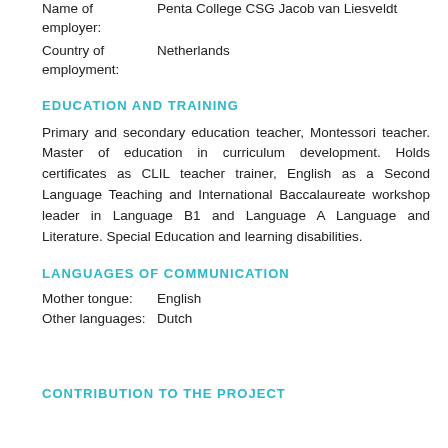Name of employer: Penta College CSG Jacob van Liesveldt
Country of employment: Netherlands
EDUCATION AND TRAINING
Primary and secondary education teacher, Montessori teacher. Master of education in curriculum development. Holds certificates as CLIL teacher trainer, English as a Second Language Teaching and International Baccalaureate workshop leader in Language B1 and Language A Language and Literature. Special Education and learning disabilities.
LANGUAGES OF COMMUNICATION
Mother tongue: English
Other languages: Dutch
CONTRIBUTION TO THE PROJECT